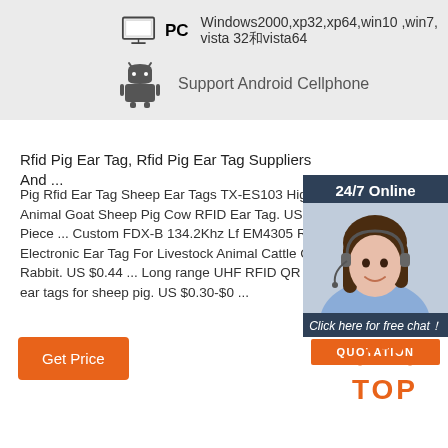[Figure (illustration): PC monitor icon with label 'PC' and text 'Windows2000,xp32,xp64,win10 ,win7, vista 32和vista64']
[Figure (illustration): Android robot icon with text 'Support Android Cellphone']
Rfid Pig Ear Tag, Rfid Pig Ear Tag Suppliers And ...
Pig Rfid Ear Tag Sheep Ear Tags TX-ES103 High Q Animal Goat Sheep Pig Cow RFID Ear Tag. US $0.0 Piece ... Custom FDX-B 134.2Khz Lf EM4305 Roun Electronic Ear Tag For Livestock Animal Cattle Cow Rabbit. US $0.44 ... Long range UHF RFID QR Cod ear tags for sheep pig. US $0.30-$0 ...
[Figure (illustration): 24/7 Online chat widget with woman wearing headset, 'Click here for free chat!' text and orange QUOTATION button]
[Figure (illustration): Orange 'Get Price' button]
[Figure (illustration): Orange 'TOP' icon with dots above forming an arch]